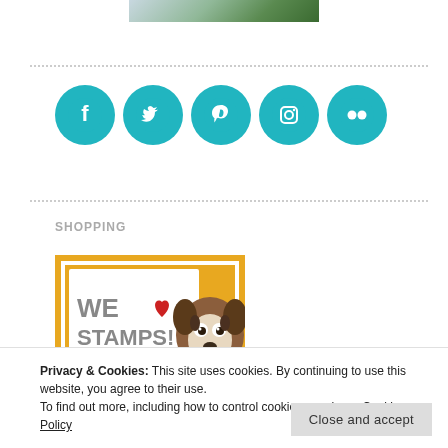[Figure (photo): Partial photo of a person/animal with colorful background at top]
[Figure (infographic): Five teal circular social media icons: Facebook, Twitter, Pinterest, Instagram, Flickr]
SHOPPING
[Figure (illustration): We Love Stamps advertisement image with orange border and cartoon dog (Boston Terrier) with text 'WE LOVE STAMPS!']
Privacy & Cookies: This site uses cookies. By continuing to use this website, you agree to their use.
To find out more, including how to control cookies, see here: Cookie Policy
Close and accept